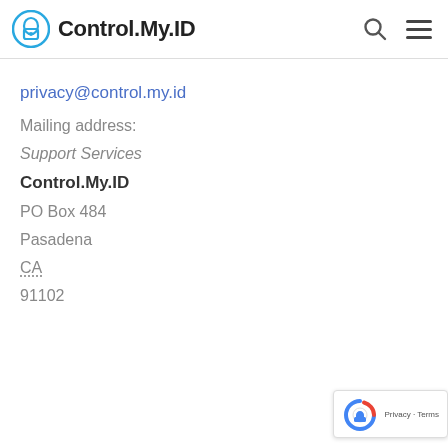Control.My.ID
privacy@control.my.id
Mailing address:
Support Services
Control.My.ID
PO Box 484
Pasadena
CA
91102